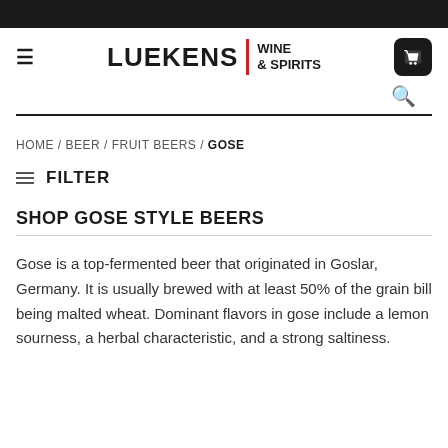LUEKENS WINE & SPIRITS
HOME / BEER / FRUIT BEERS / GOSE
FILTER
SHOP GOSE STYLE BEERS
Gose is a top-fermented beer that originated in Goslar, Germany. It is usually brewed with at least 50% of the grain bill being malted wheat. Dominant flavors in gose include a lemon sourness, a herbal characteristic, and a strong saltiness.